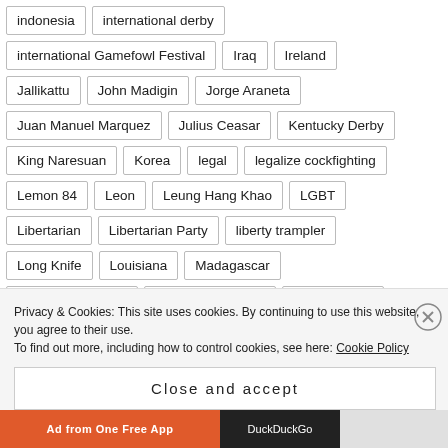indonesia
international derby
international Gamefowl Festival
Iraq
Ireland
Jallikattu
John Madigin
Jorge Araneta
Juan Manuel Marquez
Julius Ceasar
Kentucky Derby
King Naresuan
Korea
legal
legalize cockfighting
Lemon 84
Leon
Leung Hang Khao
LGBT
Libertarian
Libertarian Party
liberty trampler
Long Knife
Louisiana
Madagascar
Privacy & Cookies: This site uses cookies. By continuing to use this website, you agree to their use.
To find out more, including how to control cookies, see here: Cookie Policy
Close and accept